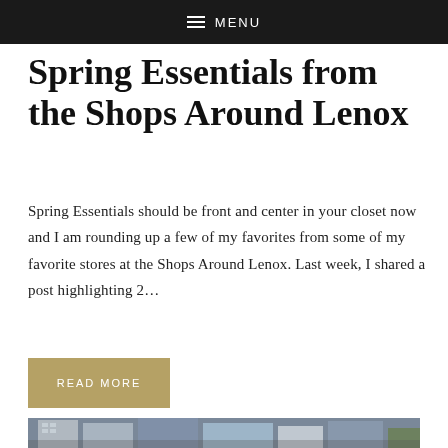≡ MENU
Spring Essentials from the Shops Around Lenox
Spring Essentials should be front and center in your closet now and I am rounding up a few of my favorites from some of my favorite stores at the Shops Around Lenox. Last week, I shared a post highlighting 2…
READ MORE
[Figure (photo): A cityscape photo showing urban buildings and street scene]